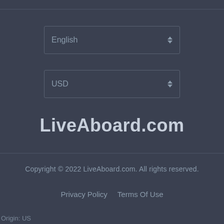[Figure (screenshot): Language selector dropdown showing 'English' with up/down arrows]
[Figure (screenshot): Currency selector dropdown showing 'USD' with up/down arrows]
LiveAboard.com
Copyright © 2022 LiveAboard.com. All rights reserved.
Privacy Policy   Terms Of Use
Origin: US